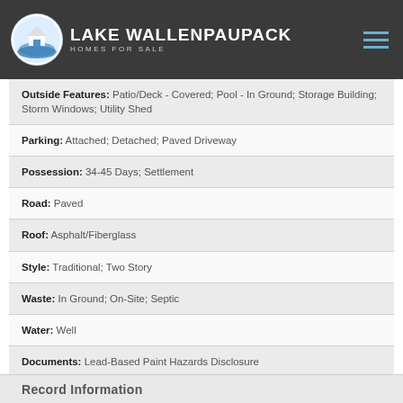[Figure (logo): Lake Wallenpaupack Homes for Sale logo with house icon in circular badge on dark header]
| Outside Features: | Patio/Deck - Covered; Pool - In Ground; Storage Building; Storm Windows; Utility Shed |
| Parking: | Attached; Detached; Paved Driveway |
| Possession: | 34-45 Days; Settlement |
| Road: | Paved |
| Roof: | Asphalt/Fiberglass |
| Style: | Traditional; Two Story |
| Waste: | In Ground; On-Site; Septic |
| Water: | Well |
| Documents: | Lead-Based Paint Hazards Disclosure |
Record Information